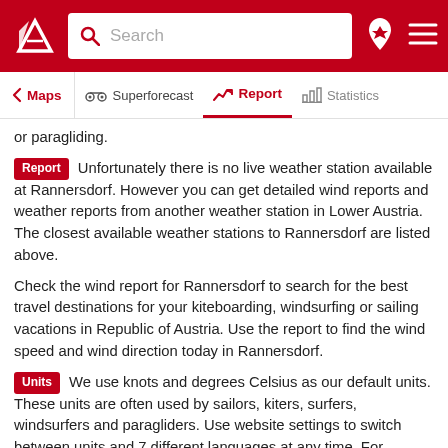Search | Maps | Superforecast | Report | Statistics
or paragliding.
Report  Unfortunately there is no live weather station available at Rannersdorf. However you can get detailed wind reports and weather reports from another weather station in Lower Austria. The closest available weather stations to Rannersdorf are listed above.
Check the wind report for Rannersdorf to search for the best travel destinations for your kiteboarding, windsurfing or sailing vacations in Republic of Austria. Use the report to find the wind speed and wind direction today in Rannersdorf.
Units  We use knots and degrees Celsius as our default units. These units are often used by sailors, kiters, surfers, windsurfers and paragliders. Use website settings to switch between units and 7 different languages at any time. For converting between wind speed units such as knots, km/h (kilometers per hour), m/s (meters